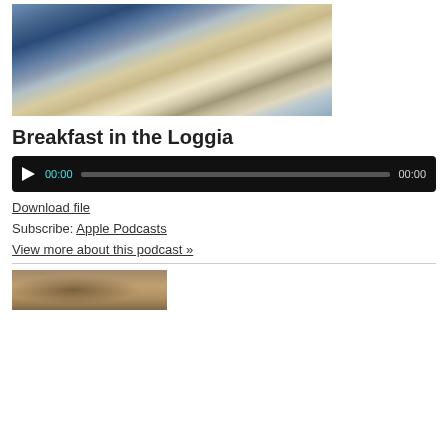[Figure (photo): Impressionist painting of two women having breakfast in a loggia, one in blue dress, outdoor setting with columns and sunlight]
Breakfast in the Loggia
[Figure (other): Audio player with play button, 00:00 start time, progress bar, and 00:00 end time on black background]
Download file
Subscribe: Apple Podcasts
View more about this podcast »
[Figure (photo): Partial view of another painting at the bottom of the page, warm brown tones]